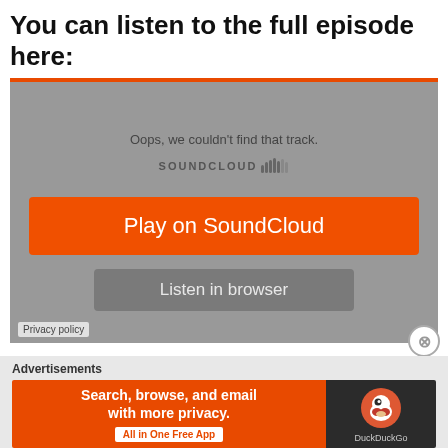You can listen to the full episode here:
[Figure (screenshot): SoundCloud embedded player showing an error: 'Oops, we couldn't find that track.' with orange 'Play on SoundCloud' button and grey 'Listen in browser' button on a grey background with orange top border. Privacy policy link at bottom left.]
Advertisements
[Figure (screenshot): Advertisement banner for DuckDuckGo: 'Search, browse, and email with more privacy. All in One Free App' on orange background with DuckDuckGo logo on dark background.]